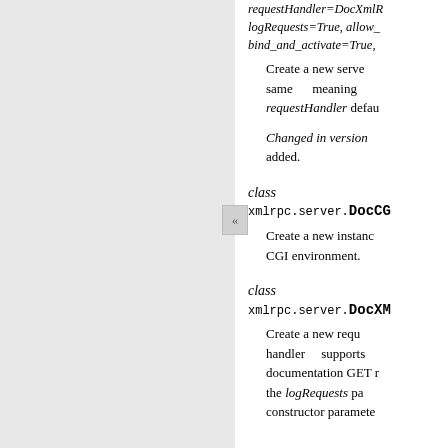requestHandler=DocXmlRpcHandler, logRequests=True, allow_none=False, bind_and_activate=True, …
Create a new serve same meaning … requestHandler defaults…
Changed in version … added.
class xmlrpc.server.DocCGIXMLRPCHandler
Create a new instance … CGI environment.
class xmlrpc.server.DocXMLRPCRequestHandler
Create a new request handler supports … documentation GET … the logRequests pa… constructor paramete…